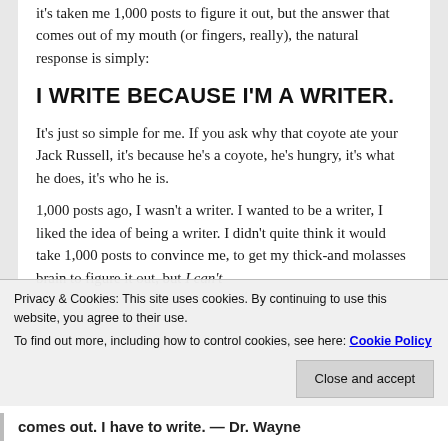it's taken me 1,000 posts to figure it out, but the answer that comes out of my mouth (or fingers, really), the natural response is simply:
I WRITE BECAUSE I'M A WRITER.
It's just so simple for me. If you ask why that coyote ate your Jack Russell, it's because he's a coyote, he's hungry, it's what he does, it's who he is.
1,000 posts ago, I wasn't a writer. I wanted to be a writer, I liked the idea of being a writer. I didn't quite think it would take 1,000 posts to convince me, to get my thick-and-molasses brain to figure it out, but I can't
Privacy & Cookies: This site uses cookies. By continuing to use this website, you agree to their use.
To find out more, including how to control cookies, see here: Cookie Policy
Close and accept
comes out. I have to write. — Dr. Wayne